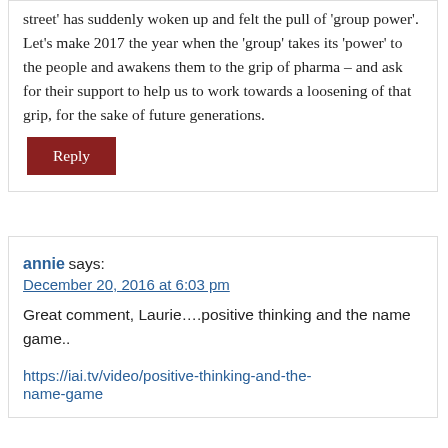street' has suddenly woken up and felt the pull of 'group power'. Let's make 2017 the year when the 'group' takes its 'power' to the people and awakens them to the grip of pharma – and ask for their support to help us to work towards a loosening of that grip, for the sake of future generations.
Reply
annie says:
December 20, 2016 at 6:03 pm
Great comment, Laurie….positive thinking and the name game..
https://iai.tv/video/positive-thinking-and-the-name-game